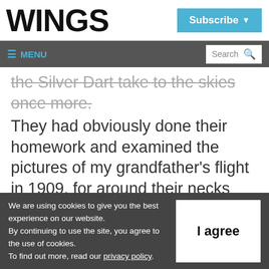WINGS
Subscribe ▾
≡ MENU | Search 🔍
the Silver Dart take to the skies once more. They had obviously done their homework and examined the pictures of my grandfather's flight in 1909, for around their necks hung their skates, so that in later years they could boast, that they had skated over the same
We are using cookies to give you the best experience on our website.
By continuing to use the site, you agree to the use of cookies.
To find out more, read our privacy policy.